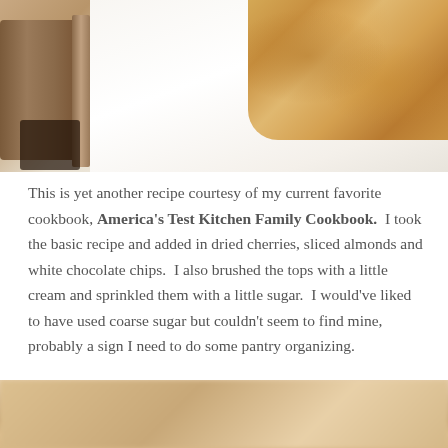[Figure (photo): Top photo showing a baking pan on the left with a white parchment surface and golden-brown scones visible in the upper right corner]
This is yet another recipe courtesy of my current favorite cookbook, America's Test Kitchen Family Cookbook. I took the basic recipe and added in dried cherries, sliced almonds and white chocolate chips. I also brushed the tops with a little cream and sprinkled them with a little sugar. I would've liked to have used coarse sugar but couldn't seem to find mine, probably a sign I need to do some pantry organizing.
[Figure (photo): Bottom photo showing a close-up blurred view of scones, warm toned with soft focus]